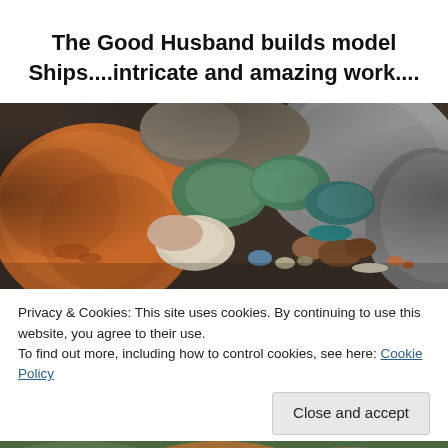The Good Husband builds model Ships....intricate and amazing work....
[Figure (photo): Close-up photograph of colorful smooth pebbles and stones of various sizes, colors including orange, brown, green, teal, white and grey, arranged together.]
Privacy & Cookies: This site uses cookies. By continuing to use this website, you agree to their use.
To find out more, including how to control cookies, see here: Cookie Policy
Close and accept
[Figure (photo): Partial bottom photo showing colorful image, partially cut off.]